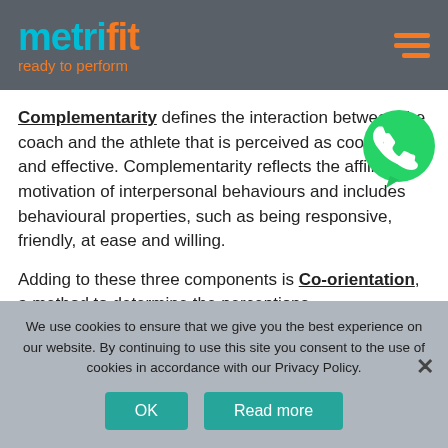metrifit ready to perform
Complementarity defines the interaction between the coach and the athlete that is perceived as cooperative and effective. Complementarity reflects the affiliation motivation of interpersonal behaviours and includes behavioural properties, such as being responsive, friendly, at ease and willing.
Adding to these three components is Co-orientation, a method to determine the perceptions
[Figure (logo): WhatsApp icon - green circle with white phone handset]
We use cookies to ensure that we give you the best experience on our website. By continuing to use this site you consent to the use of cookies in accordance with our Privacy Policy.